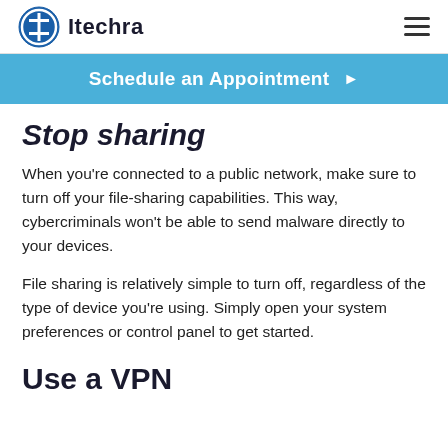Itechra
Schedule an Appointment ▶
Stop sharing
When you're connected to a public network, make sure to turn off your file-sharing capabilities. This way, cybercriminals won't be able to send malware directly to your devices.
File sharing is relatively simple to turn off, regardless of the type of device you're using. Simply open your system preferences or control panel to get started.
Use a VPN